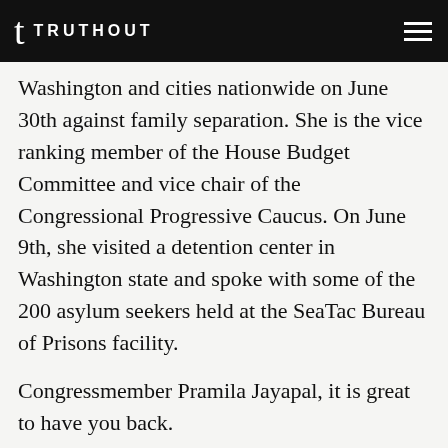TRUTHOUT
Washington and cities nationwide on June 30th against family separation. She is the vice ranking member of the House Budget Committee and vice chair of the Congressional Progressive Caucus. On June 9th, she visited a detention center in Washington state and spoke with some of the 200 asylum seekers held at the SeaTac Bureau of Prisons facility.
Congressmember Pramila Jayapal, it is great to have you back.
REP. PRAMILA JAYAPAL: It's great to be with